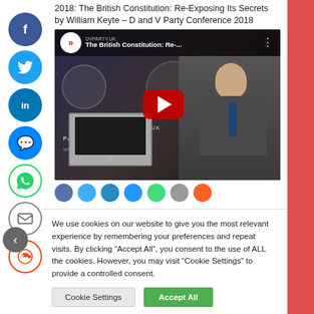2018: The British Constitution: Re-Exposing Its Secrets by William Keyte – D and V Party Conference 2018
[Figure (screenshot): YouTube video thumbnail showing 'The British Constitution: Re-...' with a man in a suit speaking at a podium with a laptop, DVPARTY.UK branding visible, and a red YouTube play button in the center.]
[Figure (infographic): Row of social media share icon circles: Facebook, Twitter, LinkedIn, Messenger, WhatsApp, Telegram, Reddit]
We use cookies on our website to give you the most relevant experience by remembering your preferences and repeat visits. By clicking “Accept All”, you consent to the use of ALL the cookies. However, you may visit “Cookie Settings” to provide a controlled consent.